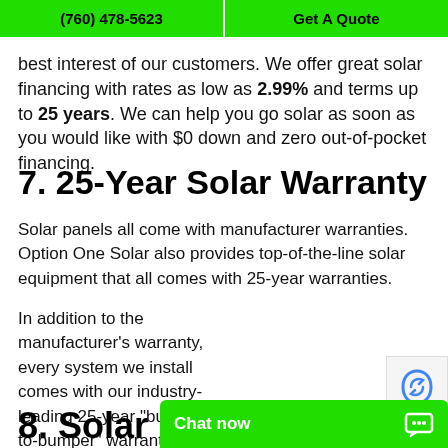(760) 478-5623 | Get A Quote
best interest of our customers. We offer great solar financing with rates as low as 2.99% and terms up to 25 years. We can help you go solar as soon as you would like with $0 down and zero out-of-pocket financing.
7. 25-Year Solar Warranty
Solar panels all come with manufacturer warranties. Option One Solar also provides top-of-the-line solar equipment that all comes with 25-year warranties.
In addition to the manufacturer's warranty, every system we install comes with our industry-leading 25-year “bumper-to-bumper” warranty, so you can have absolute peace of mind that your system will keep working regardless of any issue
8. Solar Pan...